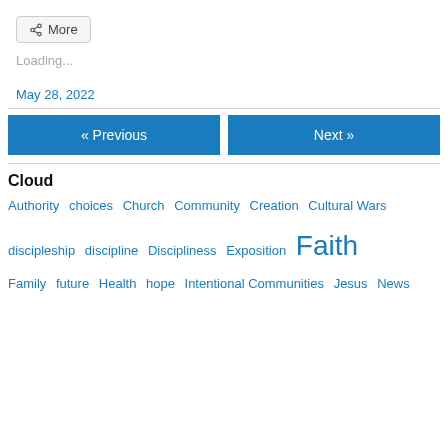More
Loading...
May 28, 2022
« Previous
Next »
Cloud
Authority  choices  Church  Community  Creation  Cultural Wars  discipleship  discipline  Discipliness  Exposition  Faith  Family  future  Health  hope  Intentional Communities  Jesus  News